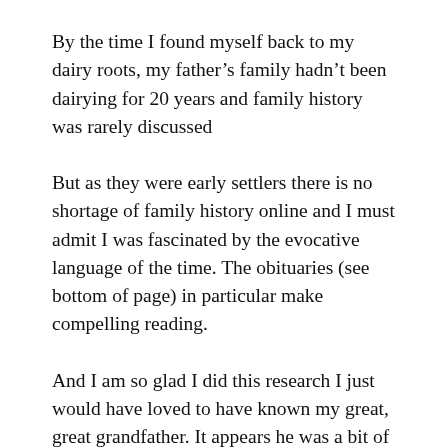By the time I found myself back to my dairy roots, my father's family hadn't been dairying for 20 years and family history was rarely discussed
But as they were early settlers there is no shortage of family history online and I must admit I was fascinated by the evocative language of the time. The obituaries (see bottom of page) in particular make compelling reading.
And I am so glad I did this research I just would have loved to have known my great, great grandfather. It appears he was a bit of a trendsetter, didn't mind standing out from the